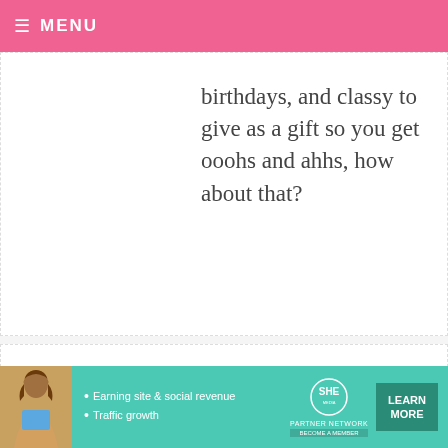MENU
birthdays, and classy to give as a gift so you get ooohs and ahhs, how about that?
LIANE — DECEMBER 4, 2008 @ 5:13 AM  REPLY
Messy is my style! I love all of them though, your work is WONDERFUL.
GENEVE — DECEMBER 4, 2008 @ 5:13 AM  REPLY
[Figure (infographic): SHE Partner Network advertisement banner with woman photo, bullet points about earning site & social revenue and traffic growth, SHE logo, and Learn More button]